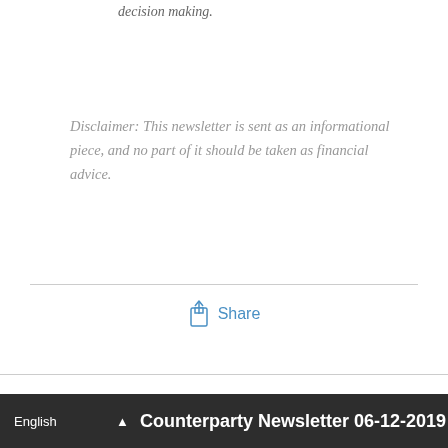decision making.
Disclaimer: This newsletter is sent as an informational piece, and no part of it should be taken as financial advice.
[Figure (other): Share button with upload/share icon and the word Share in blue]
English  Counterparty Newsletter 06-12-2019